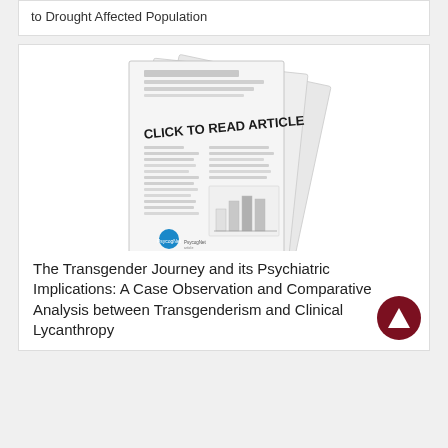to Drought Affected Population
[Figure (illustration): Stack of document pages rotated slightly, overlapping. The top page shows 'CLICK TO READ ARTICLE' in bold black text, with gray placeholder lines representing text content, a small bar chart in the bottom right, and a PsycogNet logo in the bottom left.]
The Transgender Journey and its Psychiatric Implications: A Case Observation and Comparative Analysis between Transgenderism and Clinical Lycanthropy